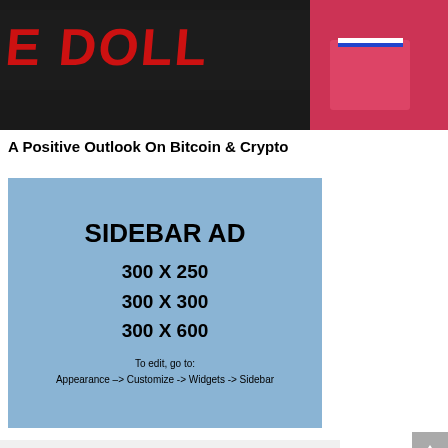[Figure (photo): Partially visible banner image showing 'DOLL' text in red graffiti style on dark background, and a person in a pink shirt on the right side]
A Positive Outlook On Bitcoin & Crypto
[Figure (infographic): Sidebar ad placeholder with light blue background. Text reads: SIDEBAR AD, 300 X 250, 300 X 300, 300 X 600, To edit, go to: Appearance -> Customize -> Widgets -> Sidebar]
RANDOM POSTS